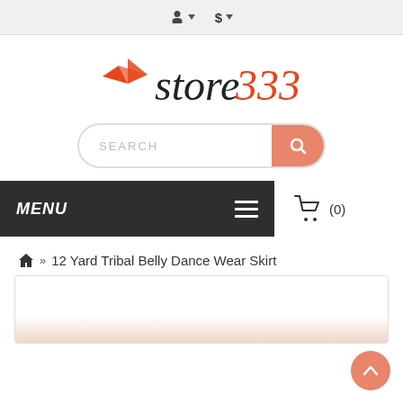User account and currency selector bar
[Figure (logo): store333 logo with orange triangular badge icon and italic text 'store333' where '333' is in orange]
[Figure (other): Search bar with placeholder text SEARCH and orange search button]
[Figure (other): Dark navigation menu bar with MENU label and hamburger icon, and cart icon showing (0)]
🏠 » 12 Yard Tribal Belly Dance Wear Skirt
[Figure (photo): Product image card partially visible at bottom of page]